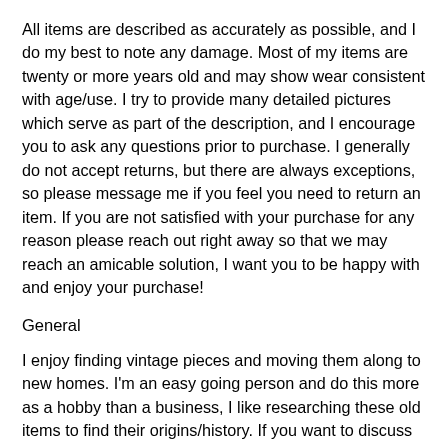All items are described as accurately as possible, and I do my best to note any damage. Most of my items are twenty or more years old and may show wear consistent with age/use. I try to provide many detailed pictures which serve as part of the description, and I encourage you to ask any questions prior to purchase. I generally do not accept returns, but there are always exceptions, so please message me if you feel you need to return an item. If you are not satisfied with your purchase for any reason please reach out right away so that we may reach an amicable solution, I want you to be happy with and enjoy your purchase!
General
I enjoy finding vintage pieces and moving them along to new homes. I'm an easy going person and do this more as a hobby than a business, I like researching these old items to find their origins/history. If you want to discuss any items listed, tell me I'm way off base on my pricing, wrong on my description, or whatever serve